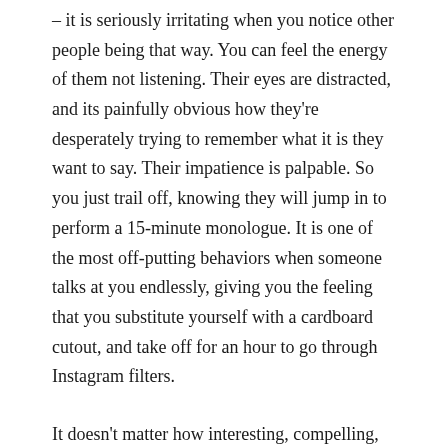– it is seriously irritating when you notice other people being that way. You can feel the energy of them not listening. Their eyes are distracted, and its painfully obvious how they're desperately trying to remember what it is they want to say. Their impatience is palpable. So you just trail off, knowing they will jump in to perform a 15-minute monologue. It is one of the most off-putting behaviors when someone talks at you endlessly, giving you the feeling that you substitute yourself with a cardboard cutout, and take off for an hour to go through Instagram filters.
It doesn't matter how interesting, compelling, or charismatic they are. It's draining to have a conversation with someone that's actually performing a one-way soliloquy. It leaves me feeling like an insignificant